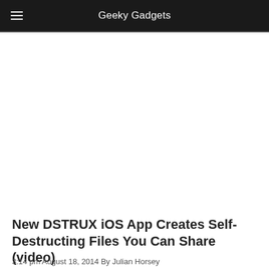Geeky Gadgets
[Figure (other): Advertisement or blank content area below the navigation header]
New DSTRUX iOS App Creates Self-Destructing Files You Can Share (video)
3:14 pm August 18, 2014 By Julian Horsey